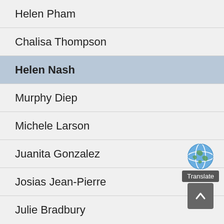Helen Pham
Chalisa Thompson
Helen Nash
Murphy Diep
Michele Larson
Juanita Gonzalez
Josias Jean-Pierre
Julie Bradbury